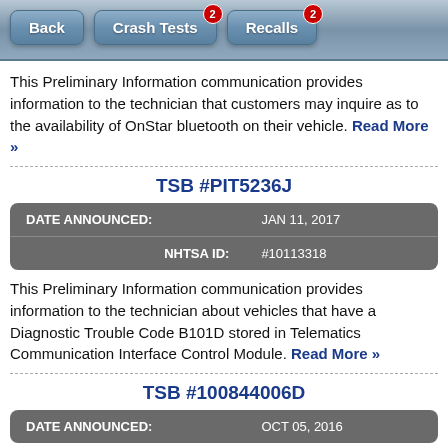Back | Crash Tests (2) | Recalls (2)
This Preliminary Information communication provides information to the technician that customers may inquire as to the availability of OnStar bluetooth on their vehicle. Read More »
TSB #PIT5236J
| Field | Value |
| --- | --- |
| DATE ANNOUNCED: | JAN 11, 2017 |
| NHTSA ID: | #10113318 |
This Preliminary Information communication provides information to the technician about vehicles that have a Diagnostic Trouble Code B101D stored in Telematics Communication Interface Control Module. Read More »
TSB #100844006D
| Field | Value |
| --- | --- |
| DATE ANNOUNCED: | OCT 05, 2016 |